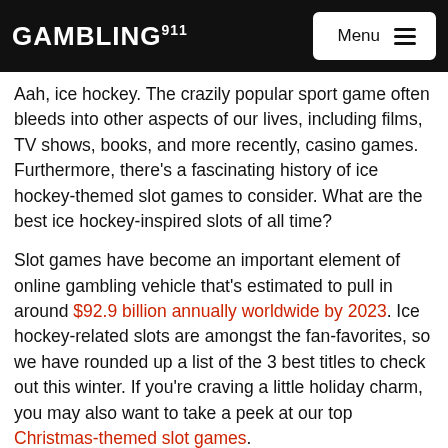GAMBLING911 Menu
Aah, ice hockey. The crazily popular sport game often bleeds into other aspects of our lives, including films, TV shows, books, and more recently, casino games. Furthermore, there's a fascinating history of ice hockey-themed slot games to consider. What are the best ice hockey-inspired slots of all time?
Slot games have become an important element of online gambling vehicle that's estimated to pull in around $92.9 billion annually worldwide by 2023. Ice hockey-related slots are amongst the fan-favorites, so we have rounded up a list of the 3 best titles to check out this winter. If you're craving a little holiday charm, you may also want to take a peek at our top Christmas-themed slot games.
#1. Hockey Hero Slot Game by Push Gaming
Video slots are right up there with the most popular